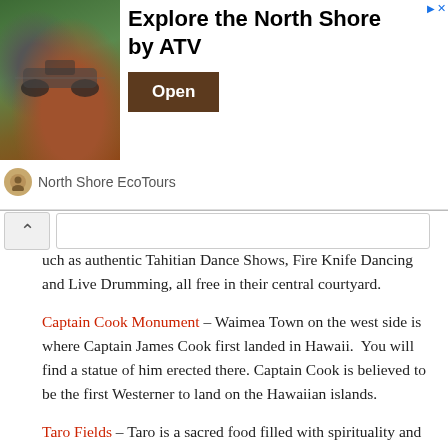[Figure (screenshot): Advertisement banner for North Shore EcoTours ATV experience. Shows an ATV on a trail with text 'Explore the North Shore by ATV', an Open button, and the North Shore EcoTours brand name.]
uch as authentic Tahitian Dance Shows, Fire Knife Dancing and Live Drumming, all free in their central courtyard.
Captain Cook Monument – Waimea Town on the west side is where Captain James Cook first landed in Hawaii. You will find a statue of him erected there. Captain Cook is believed to be the first Westerner to land on the Hawaiian islands.
Taro Fields – Taro is a sacred food filled with spirituality and tradition for Hawaiians. The north shore of Kauai is home to the largest crop of taro in Hawaii. If you stop at the over look just past the